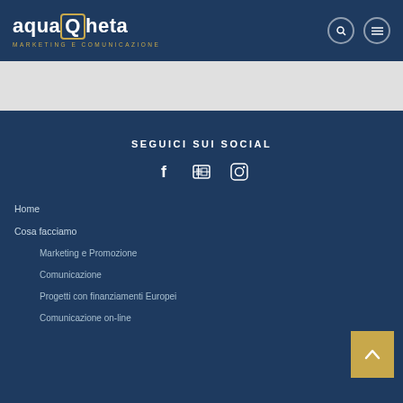aquaQheta MARKETING E COMUNICAZIONE
[Figure (logo): aquaQheta logo with speech bubble Q, subtitle MARKETING E COMUNICAZIONE in gold, search and menu icons top right]
SEGUICI SUI SOCIAL
[Figure (infographic): Social media icons: Facebook (f), YouTube (film strip), Instagram (camera)]
Home
Cosa facciamo
Marketing e Promozione
Comunicazione
Progetti con finanziamenti Europei
Comunicazione on-line